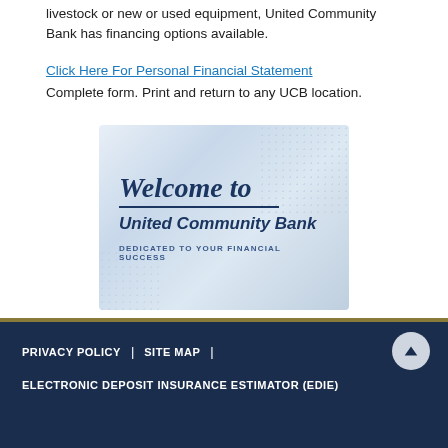livestock or new or used equipment, United Community Bank has financing options available.
Click Here For Personal Financial Statement
Complete form. Print and return to any UCB location.
[Figure (logo): Welcome to United Community Bank banner. Cursive 'Welcome to' text in dark navy blue, underline, bold 'United Community Bank', tagline 'DEDICATED TO YOUR FINANCIAL SUCCESS', on a light blue gradient background with dot patterns.]
PRIVACY POLICY | SITE MAP | ELECTRONIC DEPOSIT INSURANCE ESTIMATOR (EDIE)